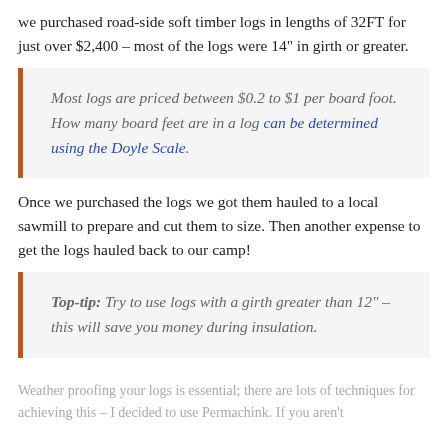we purchased road-side soft timber logs in lengths of 32FT for just over $2,400 – most of the logs were 14" in girth or greater.
Most logs are priced between $0.2 to $1 per board foot. How many board feet are in a log can be determined using the Doyle Scale.
Once we purchased the logs we got them hauled to a local sawmill to prepare and cut them to size. Then another expense to get the logs hauled back to our camp!
Top-tip: Try to use logs with a girth greater than 12" – this will save you money during insulation.
Weather proofing your logs is essential; there are lots of techniques for achieving this – I decided to use Permachink. If you aren't